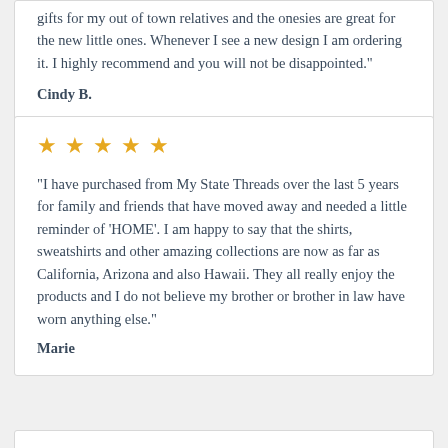gifts for my out of town relatives and the onesies are great for the new little ones. Whenever I see a new design I am ordering it. I highly recommend and you will not be disappointed."
Cindy B.
[Figure (other): Five gold stars rating]
"I have purchased from My State Threads over the last 5 years for family and friends that have moved away and needed a little reminder of 'HOME'. I am happy to say that the shirts, sweatshirts and other amazing collections are now as far as California, Arizona and also Hawaii. They all really enjoy the products and I do not believe my brother or brother in law have worn anything else."
Marie